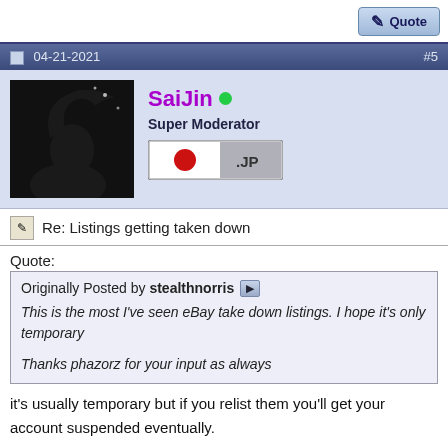Quote
04-21-2021  #5
[Figure (photo): Silhouette avatar of a person with wind-blown hair against a dark background]
SaiJin  Super Moderator  [JP flag badge]
[Figure (illustration): Japan flag badge showing red circle on white/gray background with .JP text]
Re: Listings getting taken down
Quote:
Originally Posted by stealthnorris
This is the most I've seen eBay take down listings. I hope it's only temporary

Thanks phazorz for your input as always
it's usually temporary but if you relist them you'll get your account suspended eventually.

If this is your source of income, spread it out and use multiple accounts to sell.
[Static & Rotating Residential IP for stealth]